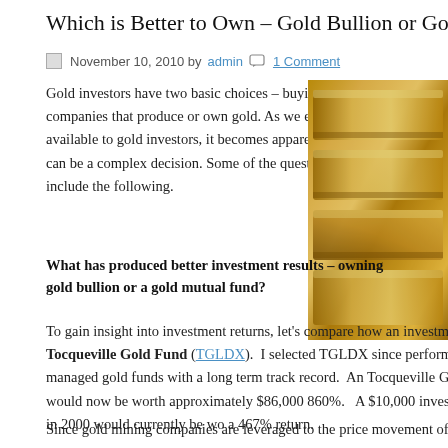Which is Better to Own – Gold Bullion or Gold S...
November 10, 2010 by admin  1 Comment
Gold investors have two basic choices – buying gold bullion or buying shares in companies that produce or own gold. As we examine the two basic investment vehicles available to gold investors, it becomes apparent that choosing the best investment option can be a complex decision. Some of the questions that a gold investor should consider include the following.
[Figure (photo): Stack of gold bullion bars with shiny golden surface]
What has produced better investment results – owning gold bullion or a gold mutual fund?
To gain insight into investment returns, let's compare how an investment in investing in the Tocqueville Gold Fund (TGLDX).  I selected TGLDX since performing, actively managed gold funds with a long term track record.  An Tocqueville Gold Fund in 2000 would now be worth approximately $86,000 860%.   A $10,000 investment in gold bullion in 2000 would currently be wo a 467% return.
Since gold mining companies are leveraged to the price movement of gold...